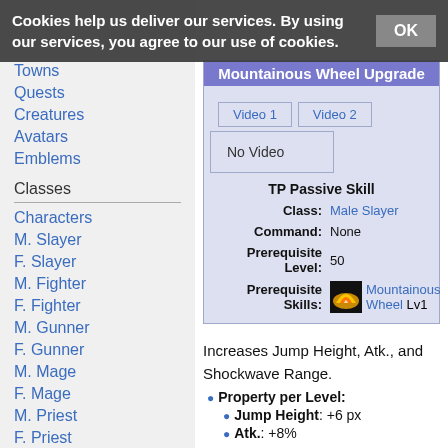Cookies help us deliver our services. By using our services, you agree to our use of cookies. OK
Towns
Quests
Creatures
Avatars
Emblems
Classes
Characters
M. Slayer
F. Slayer
M. Fighter
F. Fighter
M. Gunner
F. Gunner
M. Mage
F. Mage
M. Priest
F. Priest
Creator
Dark Knight
Demonic Lancer
Mountainous Wheel Upgrade
TP Passive Skill
Class: Male Slayer
Command: None
Prerequisite Level: 50
Prerequisite Skills: Mountainous Wheel Lv1
Increases Jump Height, Atk., and Shockwave Range.
Property per Level:
Jump Height: +6 px
Atk.: +8%